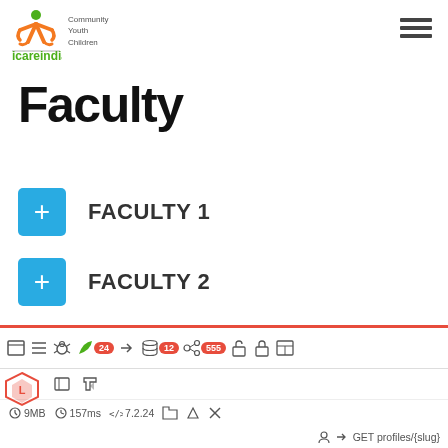[Figure (logo): icareindia Community Youth Children logo with orange figure and green text]
Faculty
FACULTY 1
FACULTY 2
FACULTY 3
Debug toolbar: 24 | 12 | 555 | 9MB | 157ms | 7.2.24 | GET profiles/{slug}